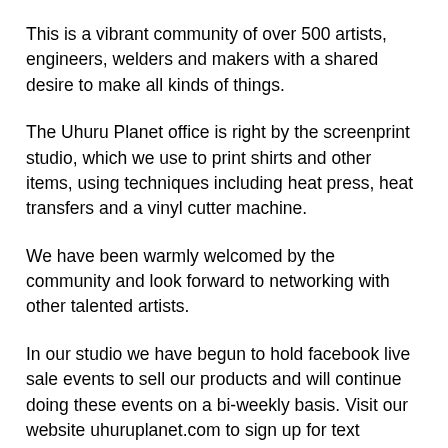This is a vibrant community of over 500 artists, engineers, welders and makers with a shared desire to make all kinds of things.
The Uhuru Planet office is right by the screenprint studio, which we use to print shirts and other items, using techniques including heat press, heat transfers and a vinyl cutter machine.
We have been warmly welcomed by the community and look forward to networking with other talented artists.
In our studio we have begun to hold facebook live sale events to sell our products and will continue doing these events on a bi-weekly basis. Visit our website uhuruplanet.com to sign up for text notifications of the next time we go live.
Last year Uhuru Planet coordinated a 2-month gallery exhibit and pop-up storefront at the local Diesel Cafe in Davis Sq, Somerville MA, which featured over his own exhibition of his original...